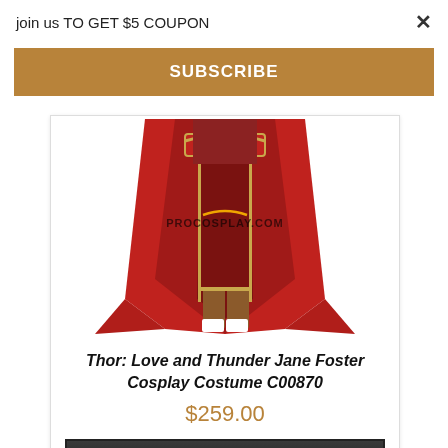join us TO GET $5 COUPON
×
SUBSCRIBE
[Figure (photo): Cosplay costume product photo showing Thor: Love and Thunder Jane Foster costume — red cape and golden-brown leg coverings on a mannequin, with PROCOSPLAY.COM watermark]
Thor: Love and Thunder Jane Foster Cosplay Costume C00870
$259.00
BUY NOW